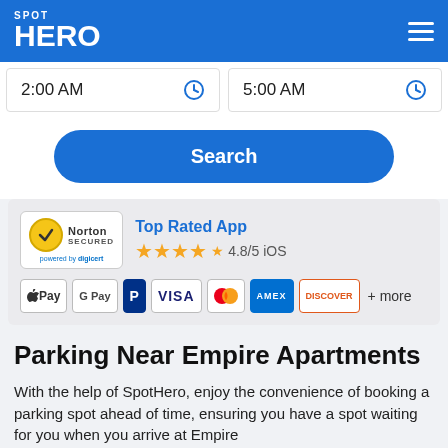SPOT HERO
2:00 AM   5:00 AM
Search
[Figure (screenshot): Norton Secured badge powered by DigiCert, Top Rated App text, 4.8/5 iOS star rating, payment method icons: Apple Pay, Google Pay, PayPal, Visa, Mastercard, Amex, Discover + more]
Parking Near Empire Apartments
With the help of SpotHero, enjoy the convenience of booking a parking spot ahead of time, ensuring you have a spot waiting for you when you arrive at Empire...